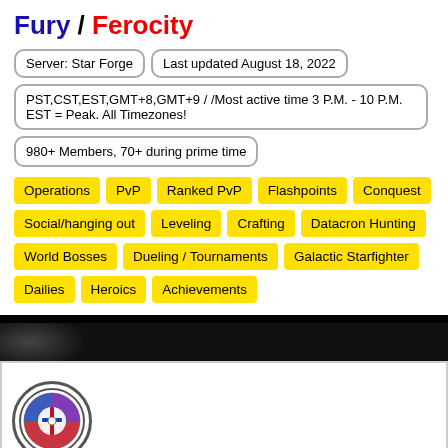Fury / Ferocity
Server: Star Forge
Last updated August 18, 2022
PST,CST,EST,GMT+8,GMT+9 / /Most active time 3 P.M. - 10 P.M. EST = Peak. All Timezones!
980+ Members, 70+ during prime time
Operations
PvP
Ranked PvP
Flashpoints
Conquest
Social/hanging out
Leveling
Crafting
Datacron Hunting
World Bosses
Dueling / Tournaments
Galactic Starfighter
Dailies
Heroics
Achievements
[Figure (logo): Circular guild logo with a stylized emblem combining a lightsaber and shield symbol in red, blue, and purple on white background]